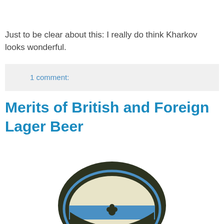Just to be clear about this: I really do think Kharkov looks wonderful.
1 comment:
Merits of British and Foreign Lager Beer
[Figure (photo): Oval beer label for Wrexham Victory British Lager, dark background with blue and cream colouring, text reads FIRST & ORIGINAL BRITISH LAGER, WREXHAM, VICTORY, with a clover/club symbol]